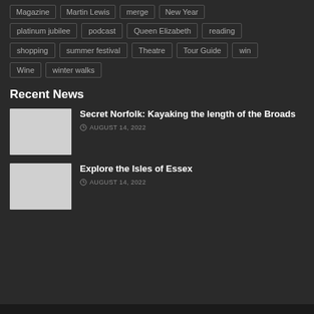platinum jubilee
podcast
Queen Elizabeth
reading
shopping
summer festival
Theatre
Tour Guide
win
Wine
winter walks
Recent News
[Figure (photo): Thumbnail image for Secret Norfolk kayaking article]
Secret Norfolk: Kayaking the length of the Broads
AUGUST 14, 2022
[Figure (photo): Thumbnail image for Explore the Isles of Essex article]
Explore the Isles of Essex
AUGUST 14, 2022